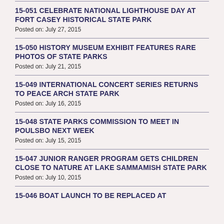15-051 CELEBRATE NATIONAL LIGHTHOUSE DAY AT FORT CASEY HISTORICAL STATE PARK
Posted on: July 27, 2015
15-050 HISTORY MUSEUM EXHIBIT FEATURES RARE PHOTOS OF STATE PARKS
Posted on: July 21, 2015
15-049 INTERNATIONAL CONCERT SERIES RETURNS TO PEACE ARCH STATE PARK
Posted on: July 16, 2015
15-048 STATE PARKS COMMISSION TO MEET IN POULSBO NEXT WEEK
Posted on: July 15, 2015
15-047 JUNIOR RANGER PROGRAM GETS CHILDREN CLOSE TO NATURE AT LAKE SAMMAMISH STATE PARK
Posted on: July 10, 2015
15-046 BOAT LAUNCH TO BE REPLACED AT